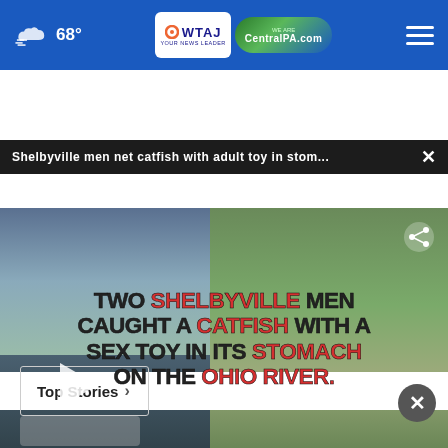WTAJ / CentralPA.com — 68° weather header
Shelbyville men net catfish with adult toy in stom... ×
[Figure (photo): Split image: left shows a man standing on a boat on a river at dusk; right shows a man outdoors holding something with blue gloves. Overlaid bold text reads: TWO SHELBYVILLE MEN CAUGHT A CATFISH WITH A SEX TOY IN ITS STOMACH ON THE OHIO RIVER.]
Top Stories >
[Figure (photo): Advertisement banner: Experience the Luxury You Deserve! Graystone Court Villas]